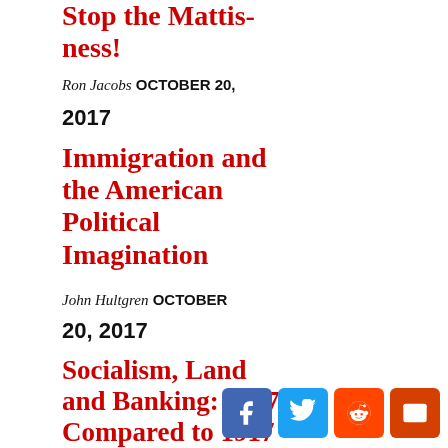Stop the Mattis-ness!
Ron Jacobs OCTOBER 20, 2017
Immigration and the American Political Imagination
John Hultgren OCTOBER 20, 2017
Socialism, Land and Banking: 2017 Compared to 1917
Michael Hudson OCTOBER 20, 2017
Talley Sergent Aaron Scheinberg Coca Cola Single Person and the